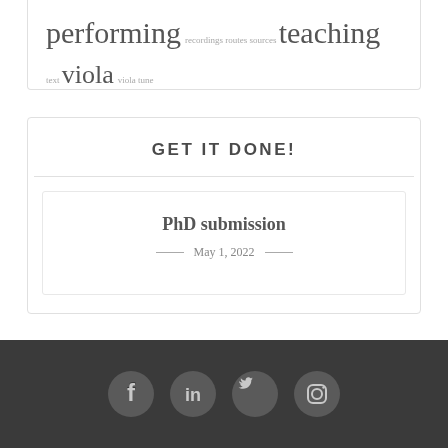performing recordings routes sources teaching text viola viola tune
GET IT DONE!
PhD submission
May 1, 2022
[Figure (illustration): Social media icons: Facebook, LinkedIn, Twitter, Instagram in dark grey circles on dark footer background]